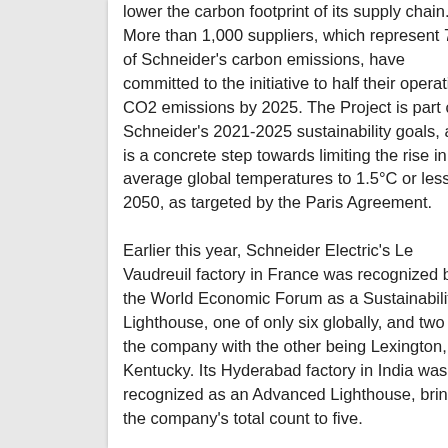lower the carbon footprint of its supply chain. More than 1,000 suppliers, which represent 70% of Schneider's carbon emissions, have committed to the initiative to half their operations' CO2 emissions by 2025. The Project is part of Schneider's 2021-2025 sustainability goals, and is a concrete step towards limiting the rise in average global temperatures to 1.5°C or less by 2050, as targeted by the Paris Agreement. Earlier this year, Schneider Electric's Le Vaudreuil factory in France was recognized by the World Economic Forum as a Sustainability Lighthouse, one of only six globally, and two for the company with the other being Lexington, Kentucky. Its Hyderabad factory in India was also recognized as an Advanced Lighthouse, bringing the company's total count to five. To learn more, visit www.se.com/hk.